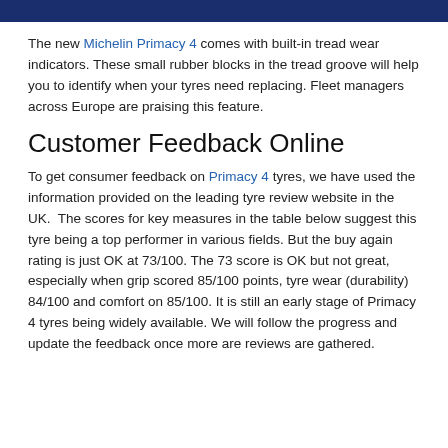The new Michelin Primacy 4 comes with built-in tread wear indicators. These small rubber blocks in the tread groove will help you to identify when your tyres need replacing. Fleet managers across Europe are praising this feature.
Customer Feedback Online
To get consumer feedback on Primacy 4 tyres, we have used the information provided on the leading tyre review website in the UK.  The scores for key measures in the table below suggest this tyre being a top performer in various fields. But the buy again rating is just OK at 73/100. The 73 score is OK but not great, especially when grip scored 85/100 points, tyre wear (durability) 84/100 and comfort on 85/100. It is still an early stage of Primacy 4 tyres being widely available. We will follow the progress and update the feedback once more are reviews are gathered.